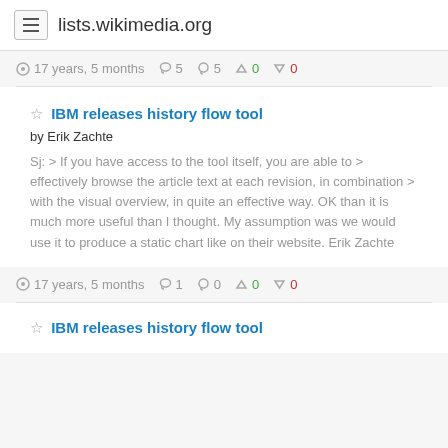lists.wikimedia.org
17 years, 5 months  5  5  0  0
IBM releases history flow tool
by Erik Zachte
Sj: > If you have access to the tool itself, you are able to > effectively browse the article text at each revision, in combination > with the visual overview, in quite an effective way. OK than it is much more useful than I thought. My assumption was we would use it to produce a static chart like on their website. Erik Zachte
17 years, 5 months  1  0  0  0
IBM releases history flow tool